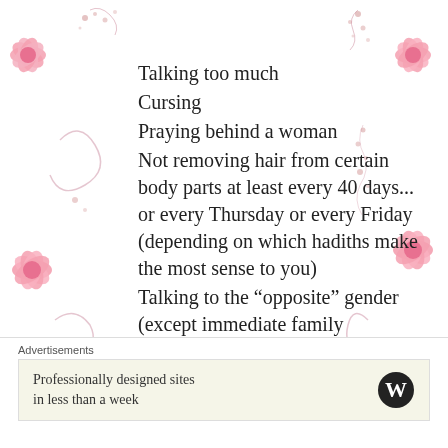[Figure (illustration): Decorative pink floral and swirl border on left side of page]
[Figure (illustration): Decorative pink floral and swirl border on right side of page]
Talking too much
Cursing
Praying behind a woman
Not removing hair from certain body parts at least every 40 days... or every Thursday or every Friday (depending on which hadiths make the most sense to you)
Talking to the “opposite” gender (except immediate family members), unless absolutely
Advertisements
Professionally designed sites in less than a week